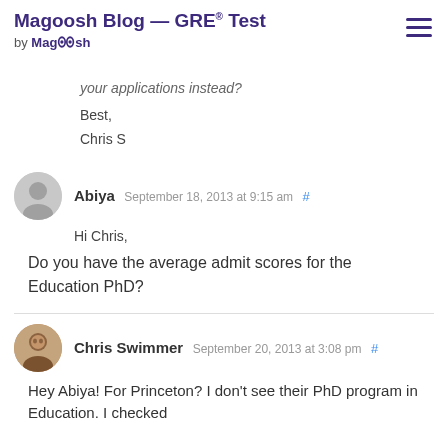Magoosh Blog — GRE® Test by Magoosh
your applications instead?
Best,
Chris S
Abiya September 18, 2013 at 9:15 am #
Hi Chris,
Do you have the average admit scores for the Education PhD?
Chris Swimmer September 20, 2013 at 3:08 pm #
Hey Abiya! For Princeton? I don't see their PhD program in Education. I checked